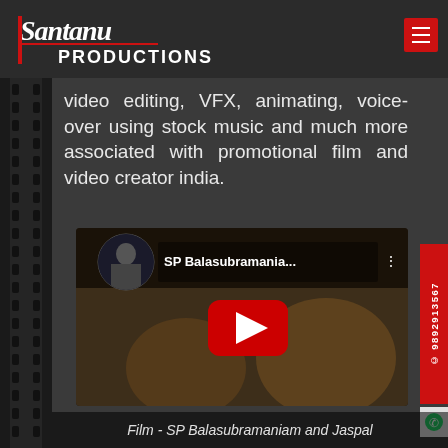Santanu PRODUCTIONS - The Swiss Army Knife for All Your Creative Needs ®
video editing, VFX, animating, voice-over using stock music and much more associated with promotional film and video creator india.
[Figure (screenshot): YouTube video thumbnail showing SP Balasubramania... with two people sitting, a YouTube play button overlay in center, and a small circular profile image in top-left]
Film - SP Balasubramaniam and Jaspal